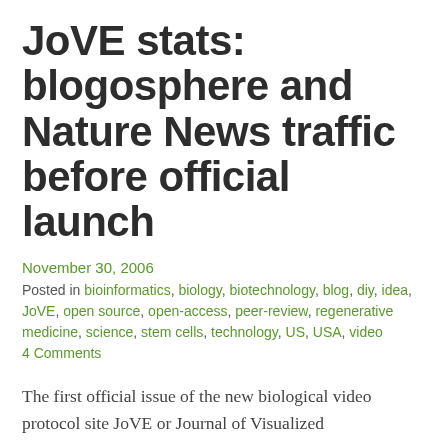JoVE stats: blogosphere and Nature News traffic before official launch
November 30, 2006
Posted in bioinformatics, biology, biotechnology, blog, diy, idea, JoVE, open source, open-access, peer-review, regenerative medicine, science, stem cells, technology, US, USA, video
4 Comments
The first official issue of the new biological video protocol site JoVE or Journal of Visualized